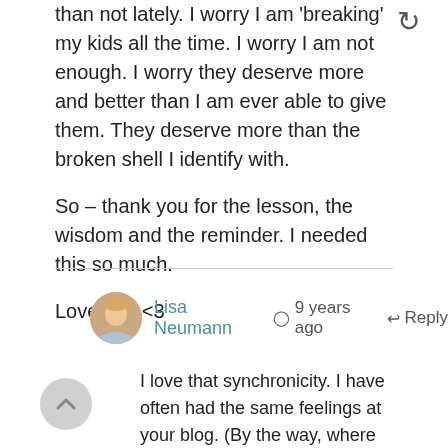than not lately. I worry I am 'breaking' my kids all the time. I worry I am not enough. I worry they deserve more and better than I am ever able to give them. They deserve more than the broken shell I identify with.
So – thank you for the lesson, the wisdom and the reminder. I needed this so much.
Love you <3
Lisa Neumann  ⊙ 9 years ago  ↩ Reply
I love that synchronicity. I have often had the same feelings at your blog. (By the way, where have you been?) I would beg to differ